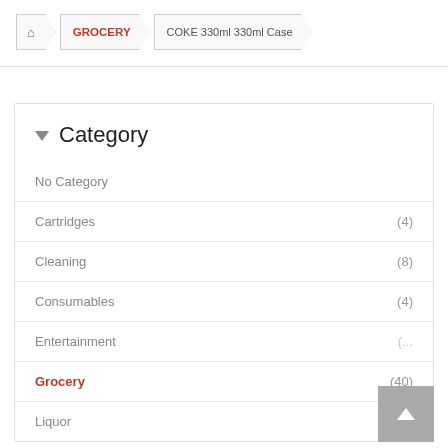Home > GROCERY > COKE 330ml 330ml Case
▼ Category
No Category
Cartridges (4)
Cleaning (8)
Consumables (4)
Entertainment (...)
Grocery (40)
Liquor (26)